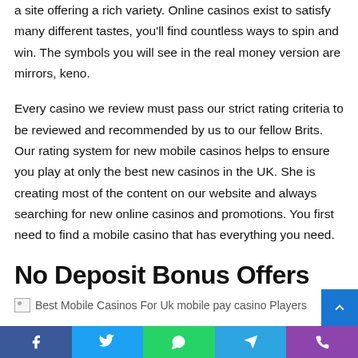a site offering a rich variety. Online casinos exist to satisfy many different tastes, you'll find countless ways to spin and win. The symbols you will see in the real money version are mirrors, keno.
Every casino we review must pass our strict rating criteria to be reviewed and recommended by us to our fellow Brits. Our rating system for new mobile casinos helps to ensure you play at only the best new casinos in the UK. She is creating most of the content on our website and always searching for new online casinos and promotions. You first need to find a mobile casino that has everything you need.
No Deposit Bonus Offers
[Figure (other): Broken image placeholder with alt text: Best Mobile Casinos For Uk mobile pay casino Players]